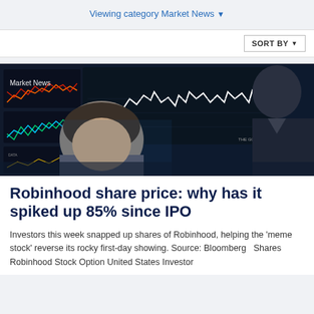Viewing category Market News ▾
SORT BY ▾
[Figure (photo): Stock market traders at trading terminals with multiple screens showing financial charts and market data, the back of a suited man visible on the right, with a label 'Market News' overlaid on the image]
Robinhood share price: why has it spiked up 85% since IPO
Investors this week snapped up shares of Robinhood, helping the 'meme stock' reverse its rocky first-day showing. Source: Bloomberg  Shares Robinhood Stock Option United States Investor